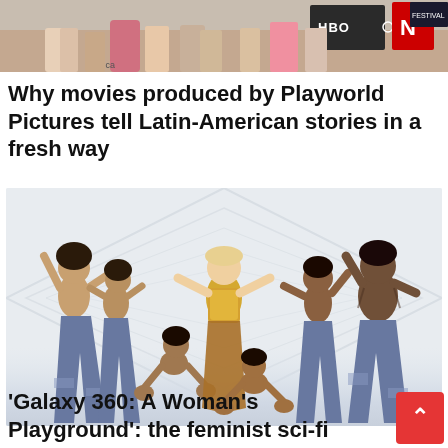[Figure (photo): Cropped photo showing legs/lower bodies of people standing in front of a backdrop with HBO and N logos visible, and 'America' text partially visible]
Why movies produced by Playworld Pictures tell Latin-American stories in a fresh way
[Figure (photo): Dance scene still from 'Galaxy 360: A Woman's Playground' showing a woman in a gold outfit surrounded by shirtless male dancers in patterned flared pants, performing in a white geometric studio space]
'Galaxy 360: A Woman's Playground': the feminist sci-fi comedy we all need right no